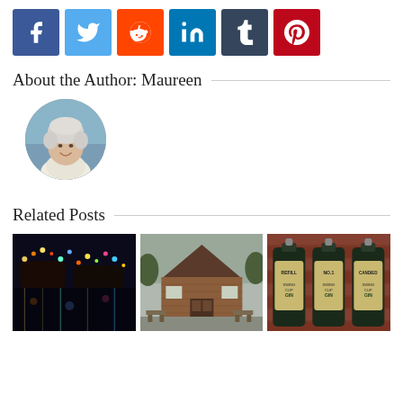[Figure (infographic): Row of 6 social media sharing buttons: Facebook (blue), Twitter (light blue), Reddit (orange), LinkedIn (teal), Tumblr (dark navy), Pinterest (red), each showing the respective platform icon in white on a colored square button.]
About the Author: Maureen
[Figure (photo): Circular profile photo of a woman with short white/grey hair, smiling, wearing a white top, photographed outdoors.]
Related Posts
[Figure (photo): Three thumbnail images side by side: left shows illuminated boats/floats reflected in water at night with festive lights; middle shows a brick building exterior with picnic tables in a car park setting on a cloudy day; right shows three bottles of Swing Cup Gin with labels reading REFILL, NO.1, and CANDIED on a brick wall background.]